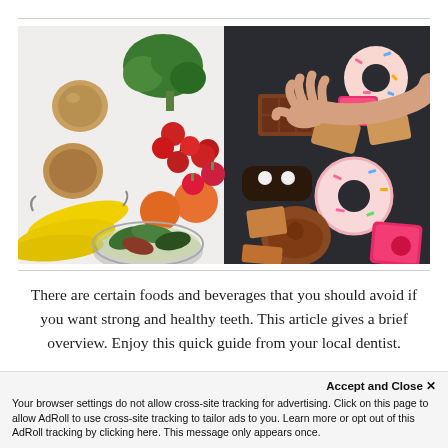[Figure (photo): Split photo showing healthy foods (fruits, vegetables, salad) on the left side against a white background, and unhealthy foods (donuts, chocolate, pastries, cookies) on the right side against a dark slate background. A hand reaches from the healthy side toward the unhealthy side.]
There are certain foods and beverages that you should avoid if you want strong and healthy teeth. This article gives a brief overview. Enjoy this quick guide from your local dentist.
Accept and Close ✕
Your browser settings do not allow cross-site tracking for advertising. Click on this page to allow AdRoll to use cross-site tracking to tailor ads to you. Learn more or opt out of this AdRoll tracking by clicking here. This message only appears once.